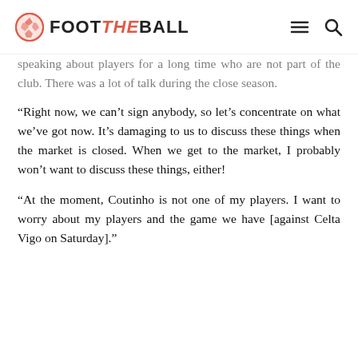FOOT THE BALL
speaking about players for a long time who are not part of the club. There was a lot of talk during the close season.
“Right now, we can’t sign anybody, so let’s concentrate on what we’ve got now. It’s damaging to us to discuss these things when the market is closed. When we get to the market, I probably won’t want to discuss these things, either!
“At the moment, Coutinho is not one of my players. I want to worry about my players and the game we have [against Celta Vigo on Saturday].”
(cropped bottom text)